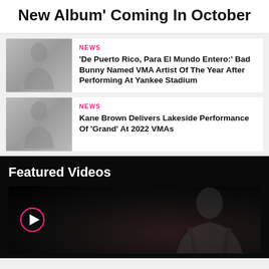New Album’ Coming In October
NEWS
‘De Puerto Rico, Para El Mundo Entero:’ Bad Bunny Named VMA Artist Of The Year After Performing At Yankee Stadium
NEWS
Kane Brown Delivers Lakeside Performance Of ‘Grand’ At 2022 VMAs
Featured Videos
[Figure (photo): Dark video thumbnail with a silhouette figure, pink play button circle overlay]